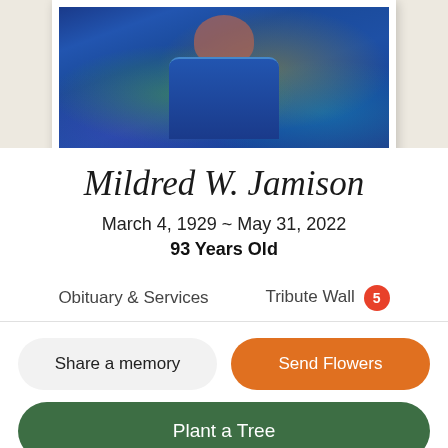[Figure (photo): Partial portrait photo of Mildred W. Jamison wearing a colorful blue and green patterned top, shown from shoulders up, cropped at top]
Mildred W. Jamison
March 4, 1929 ~ May 31, 2022
93 Years Old
Obituary & Services      Tribute Wall 5
Share a memory
Send Flowers
Plant a Tree